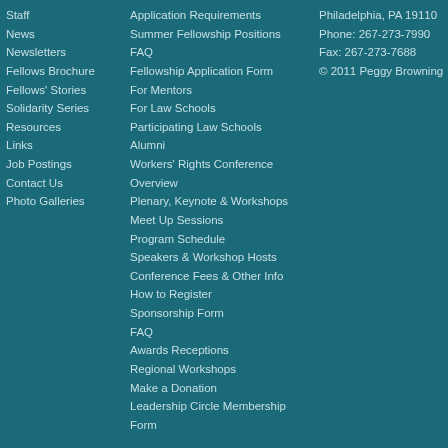Staff
News
Newsletters
Fellows Brochure
Fellows' Stories
Solidarity Series
Resources
Links
Job Postings
Contact Us
Photo Galleries
Application Requirements
Summer Fellowship Positions
FAQ
Fellowship Application Form
For Mentors
For Law Schools
Participating Law Schools
Alumni
Workers' Rights Conference
Overview
Plenary, Keynote & Workshops
Meet Up Sessions
Program Schedule
Speakers & Workshop Hosts
Conference Fees & Other Info
How to Register
Sponsorship Form
FAQ
Awards Receptions
Regional Workshops
Make a Donation
Leadership Circle Membership Form
Philadelphia, PA 19110
Phone: 267-273-7990
Fax: 267-273-7688
© 2011 Peggy Browning